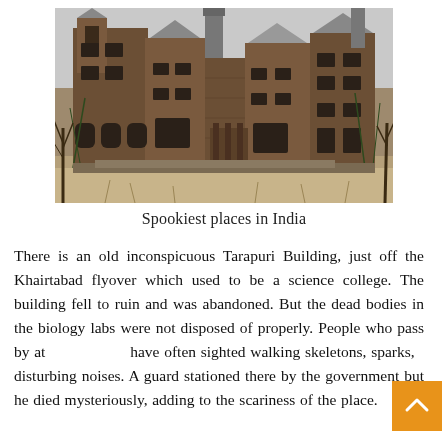[Figure (photo): Photograph of a large, old, abandoned and dilapidated multi-story Victorian-era building with dark wooden exterior, overgrown with vines and bare winter trees in the foreground. The sky is overcast and grey.]
Spookiest places in India
There is an old inconspicuous Tarapuri Building, just off the Khairtabad flyover which used to be a science college. The building fell to ruin and was abandoned. But the dead bodies in the biology labs were not disposed of properly. People who pass by at night have often sighted walking skeletons, sparks, and disturbing noises. A guard stationed there by the government but he died mysteriously, adding to the scariness of the place.